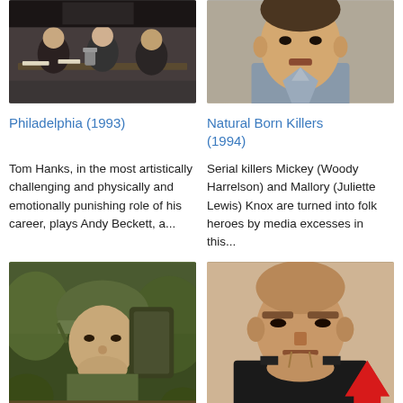[Figure (photo): Movie still from Philadelphia (1993) showing men at a table in a boardroom scene]
[Figure (photo): Movie still from Natural Born Killers (1994) showing a young man]
Philadelphia (1993)
Natural Born Killers (1994)
Tom Hanks, in the most artistically challenging and physically and emotionally punishing role of his career, plays Andy Beckett, a...
Serial killers Mickey (Woody Harrelson) and Mallory (Juliette Lewis) Knox are turned into folk heroes by media excesses in this...
[Figure (photo): Movie still from Forrest Gump (1994) showing a soldier wearing a helmet in jungle]
[Figure (photo): Movie still from Once Were Warriors (1995) showing a muscular man with a stern expression, with a red upward arrow overlay]
Forrest Gump (1994)
Once Were Warriors (1995)